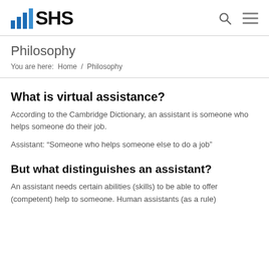SHS
Philosophy
You are here:  Home  /  Philosophy
What is virtual assistance?
According to the Cambridge Dictionary, an assistant is someone who helps someone do their job.
Assistant: “Someone who helps someone else to do a job”
But what distinguishes an assistant?
An assistant needs certain abilities (skills) to be able to offer (competent) help to someone. Human assistants (as a rule)